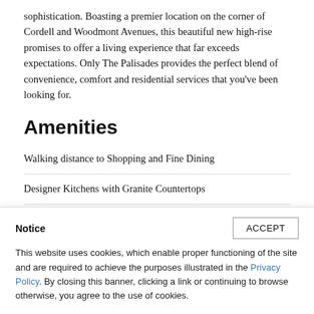sophistication. Boasting a premier location on the corner of Cordell and Woodmont Avenues, this beautiful new high-rise promises to offer a living experience that far exceeds expectations. Only The Palisades provides the perfect blend of convenience, comfort and residential services that you've been looking for.
Amenities
Walking distance to Shopping and Fine Dining
Designer Kitchens with Granite Countertops
Rooftop Sundeck and Pool
Notice
This website uses cookies, which enable proper functioning of the site and are required to achieve the purposes illustrated in the Privacy Policy. By closing this banner, clicking a link or continuing to browse otherwise, you agree to the use of cookies.